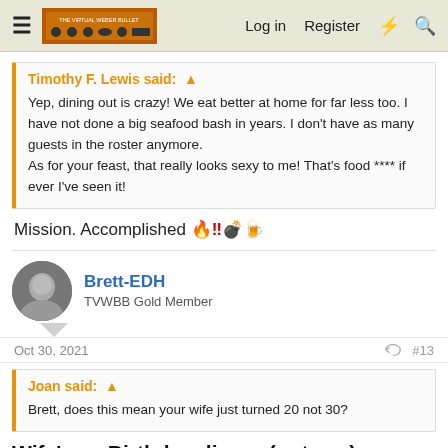Log in  Register
Timothy F. Lewis said:
Yep, dining out is crazy! We eat better at home for far less too. I have not done a big seafood bash in years. I don't have as many guests in the roster anymore.
As for your feast, that really looks sexy to me! That's food **** if ever I've seen it!
Mission. Accomplished 🔥‼💣🍺
Brett-EDH
TVWBB Gold Member
Oct 30, 2021  #13
Joan said:
Brett, does this mean your wife just turned 20 not 30?
Wife's xx Birthday dinner (not xxx)